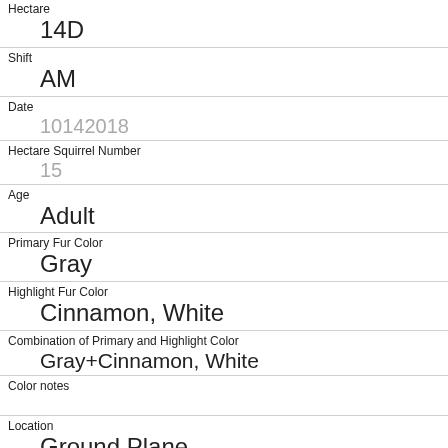Hectare
14D
Shift
AM
Date
10142018
Hectare Squirrel Number
15
Age
Adult
Primary Fur Color
Gray
Highlight Fur Color
Cinnamon, White
Combination of Primary and Highlight Color
Gray+Cinnamon, White
Color notes
Location
Ground Plane
Above Ground Sighter Measurement